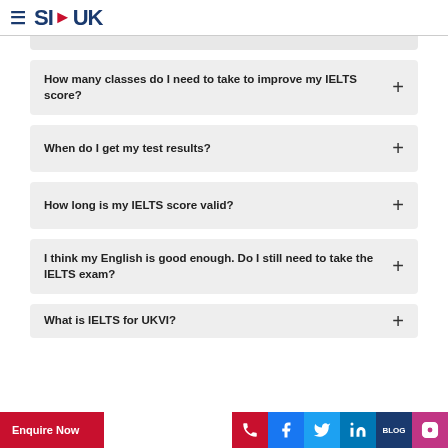SI-UK
How many classes do I need to take to improve my IELTS score?
When do I get my test results?
How long is my IELTS score valid?
I think my English is good enough. Do I still need to take the IELTS exam?
What is IELTS for UKVI?